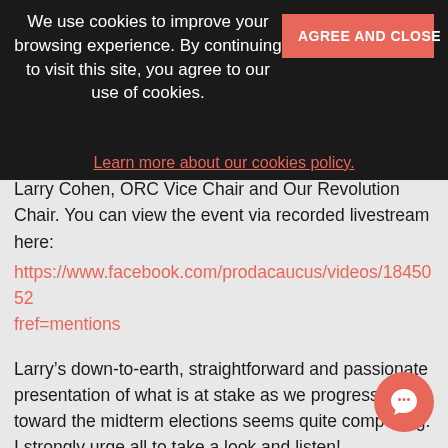We use cookies to improve your browsing experience. By continuing to visit this site, you agree to our use of cookies.
AGREE AND CLOSE
Learn more about our cookies policy.
Larry Cohen, ORC Vice Chair and Our Revolution Chair. You can view the event via recorded livestream here:
https://www.facebook.com/prodacaucus/videos/1845052fref=mentions
Larry’s down-to-earth, straightforward and passionate presentation of what is at stake as we progress toward the midterm elections seems quite compelling. I strongly urge all to take a look and listen!
– Bruce Murray, DA Austria Counsel, DA Progressive Caucus Member, Our Revolution Austria Group Leader